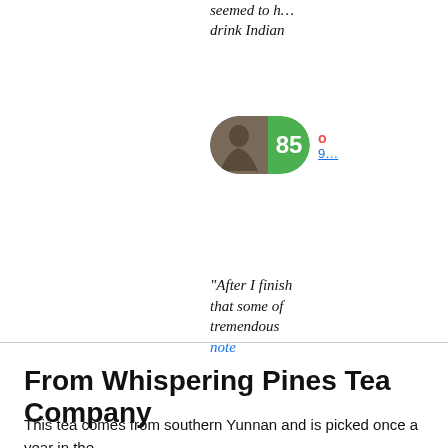seemed to h... drink Indian
[Figure (other): Score badge with person image and green score circle showing 85, with name and number link beside it]
"After I finish... that some of... tremendous... note
[Figure (other): Score badge with crow/raven image and green score circle showing 92, with name and number link beside it]
From Whispering Pines Tea Company
This tea comes from southern Yunnan and is picked once a year in the... The harvest utilizes fresh buds to create a flavorful and very sweet tea...